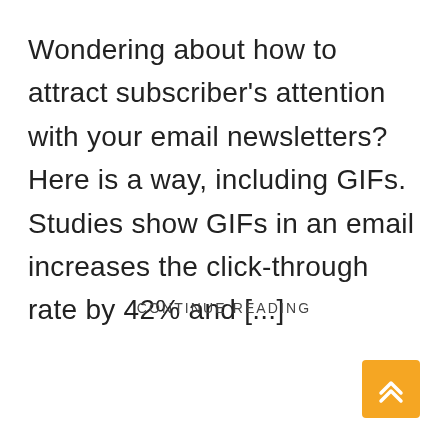Wondering about how to attract subscriber's attention with your email newsletters? Here is a way, including GIFs. Studies show GIFs in an email increases the click-through rate by 42% and [...]
CONTINUE READING
[Figure (other): Yellow/gold square button with double upward chevron arrows (scroll-to-top button), positioned bottom-right corner]